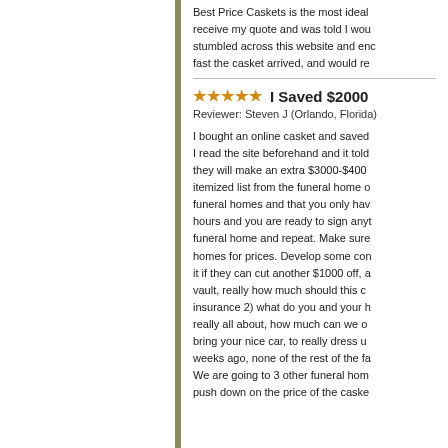Best Price Caskets is the most ideal... receive my quote and was told I wou... stumbled across this website and enc... fast the casket arrived, and would re...
I Saved $2000
Reviewer: Steven J (Orlando, Florida)
I bought an online casket and saved ... I read the site beforehand and it told... they will make an extra $3000-$400... itemized list from the funeral home ... funeral homes and that you only hav... hours and you are ready to sign anyt... funeral home and repeat. Make sure ... homes for prices. Develop some con... it if they can cut another $1000 off, ... vault, really how much should this c... insurance 2) what do you and your h... really all about, how much can we c... bring your nice car, to really dress u... weeks ago, none of the rest of the fa... We are going to 3 other funeral hom... push down on the price of the caske...